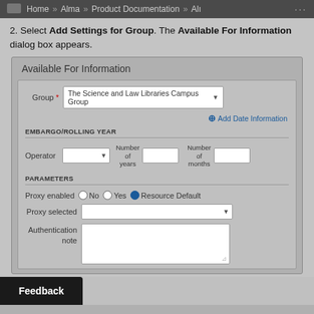Home » Alma » Product Documentation » Alı ...
2. Select Add Settings for Group. The Available For Information dialog box appears.
[Figure (screenshot): Available For Information dialog box showing fields: Group (dropdown: The Science and Law Libraries Campus Group), Add Date Information link, EMBARGO/ROLLING YEAR section with Operator dropdown, Number of years input, Number of months input, PARAMETERS section with Proxy enabled radio buttons (No, Yes, Resource Default selected), Proxy selected dropdown, Authentication note textarea.]